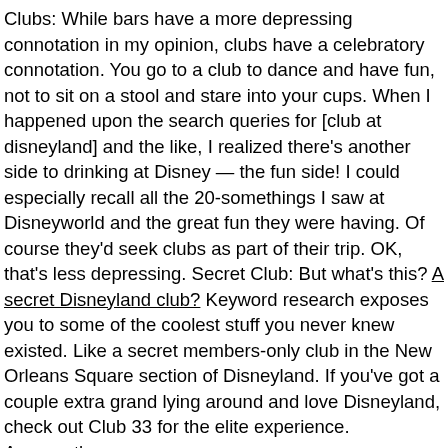Clubs: While bars have a more depressing connotation in my opinion, clubs have a celebratory connotation. You go to a club to dance and have fun, not to sit on a stool and stare into your cups. When I happened upon the search queries for [club at disneyland] and the like, I realized there's another side to drinking at Disney — the fun side! I could especially recall all the 20-somethings I saw at Disneyworld and the great fun they were having. Of course they'd seek clubs as part of their trip. OK, that's less depressing. Secret Club: But what's this? A secret Disneyland club? Keyword research exposes you to some of the coolest stuff you never knew existed. Like a secret members-only club in the New Orleans Square section of Disneyland. If you've got a couple extra grand lying around and love Disneyland, check out Club 33 for the elite experience. Apparently.
What I found interesting overall is that "club" keywords associated with "disneyland" outweigh "bar" keywords 14:1. Some of those "club" searchers may be looking for travel clubs,